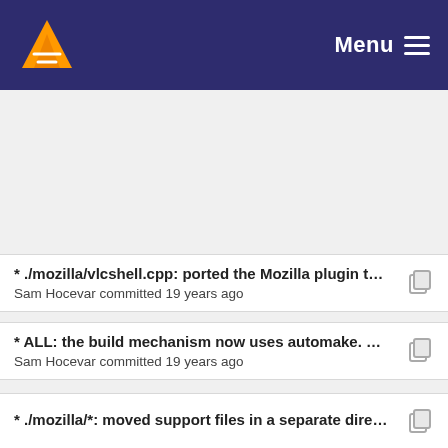VLC Menu
* ./mozilla/vlcshell.cpp: ported the Mozilla plugin t... Sam Hocevar committed 19 years ago
* ALL: the build mechanism now uses automake. ... Sam Hocevar committed 19 years ago
* ./mozilla/*: moved support files in a separate dire...